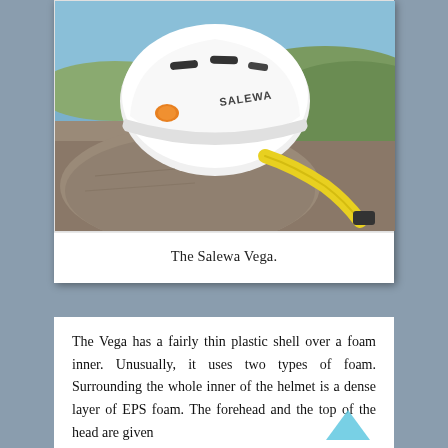[Figure (photo): A white Salewa Vega climbing helmet sitting on a rock outdoors, with a yellow chin strap visible, green hillside landscape in background.]
The Salewa Vega.
The Vega has a fairly thin plastic shell over a foam inner. Unusually, it uses two types of foam. Surrounding the whole inner of the helmet is a dense layer of EPS foam. The forehead and the top of the head are given